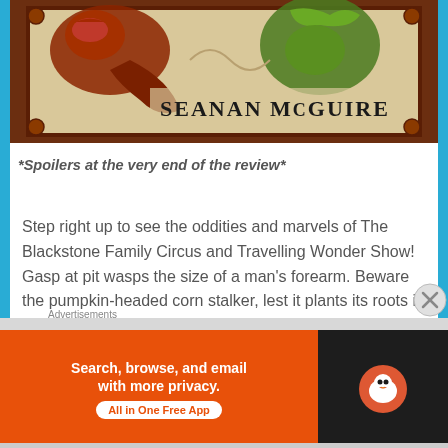[Figure (illustration): Book cover for a novel by Seanan McGuire, showing fantasy creatures including a red creature and a green creature, with 'SEANAN McGUIRE' text on the cover in a dark ornate frame]
*Spoilers at the very end of the review*
Step right up to see the oddities and marvels of The Blackstone Family Circus and Travelling Wonder Show! Gasp at pit wasps the size of a man's forearm. Beware the pumpkin-headed corn stalker, lest it plants its roots in you!
Advertisements
[Figure (screenshot): Partial DuckDuckGo advertisement banner (cropped) in blue]
Advertisements
[Figure (screenshot): DuckDuckGo advertisement: 'Search, browse, and email with more privacy. All in One Free App' on orange background with DuckDuckGo logo on dark background]